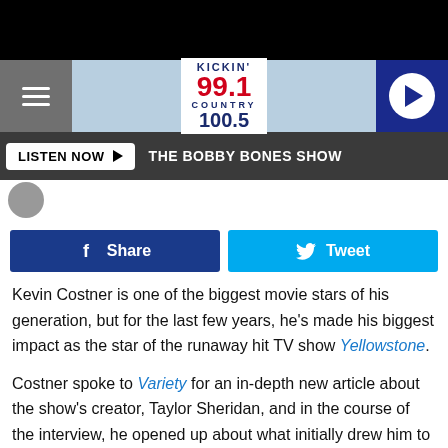[Figure (screenshot): Kickin' 99.1 Country 100.5 radio station navigation bar with hamburger menu and play button]
LISTEN NOW ▶  THE BOBBY BONES SHOW
[Figure (other): Facebook Share button and Twitter Tweet button]
Kevin Costner is one of the biggest movie stars of his generation, but for the last few years, he's made his biggest impact as the star of the runaway hit TV show Yellowstone.
Costner spoke to Variety for an in-depth new article about the show's creator, Taylor Sheridan, and in the course of the interview, he opened up about what initially drew him to his headlining role as Dutton patriarch John Dutton.
"I saw that the dialogue had a fun, realistic approach to it. It